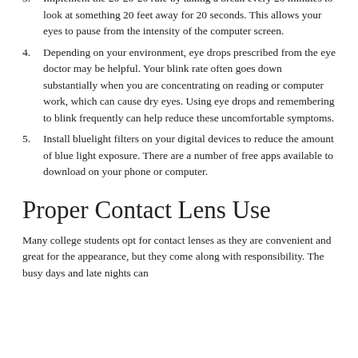3. Implement the 20-20-20 rule by taking a break every 20 minutes to look at something 20 feet away for 20 seconds. This allows your eyes to pause from the intensity of the computer screen.
4. Depending on your environment, eye drops prescribed from the eye doctor may be helpful. Your blink rate often goes down substantially when you are concentrating on reading or computer work, which can cause dry eyes. Using eye drops and remembering to blink frequently can help reduce these uncomfortable symptoms.
5. Install bluelight filters on your digital devices to reduce the amount of blue light exposure. There are a number of free apps available to download on your phone or computer.
Proper Contact Lens Use
Many college students opt for contact lenses as they are convenient and great for the appearance, but they come along with responsibility. The busy days and late nights can